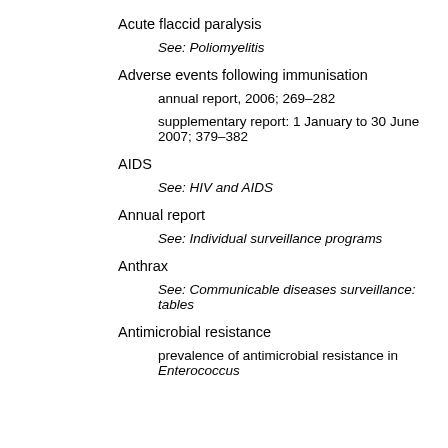Acute flaccid paralysis
See: Poliomyelitis
Adverse events following immunisation
annual report, 2006; 269–282
supplementary report: 1 January to 30 June 2007; 379–382
AIDS
See: HIV and AIDS
Annual report
See: Individual surveillance programs
Anthrax
See: Communicable diseases surveillance: tables
Antimicrobial resistance
prevalence of antimicrobial resistance in Enterococcus